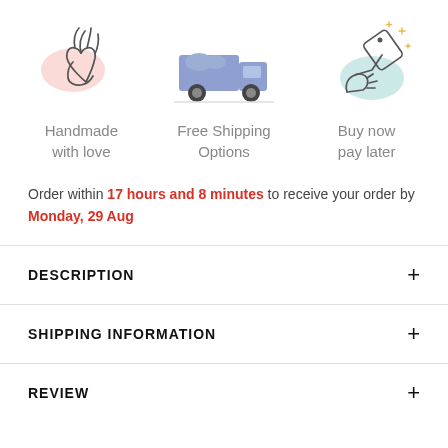[Figure (illustration): Three icons in a row: hands making heart shape with pink circle, delivery truck with blue/purple colors, and hand holding a price tag with sparkles and teal circle]
Handmade with love
Free Shipping Options
Buy now pay later
Order within 17 hours and 8 minutes to receive your order by Monday, 29 Aug
DESCRIPTION
SHIPPING INFORMATION
REVIEW